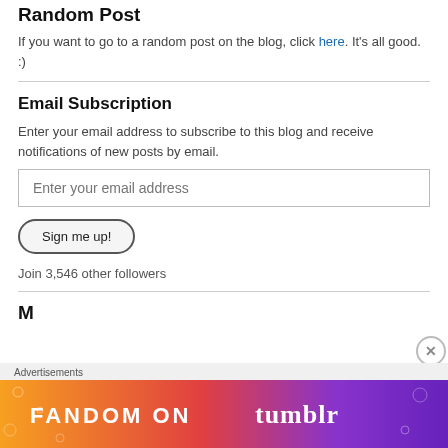Random Post
If you want to go to a random post on the blog, click here. It's all good. :)
Email Subscription
Enter your email address to subscribe to this blog and receive notifications of new posts by email.
Enter your email address
Sign me up!
Join 3,546 other followers
[Figure (screenshot): Advertisement banner: FANDOM ON tumblr with colorful orange-to-purple gradient background]
Advertisements